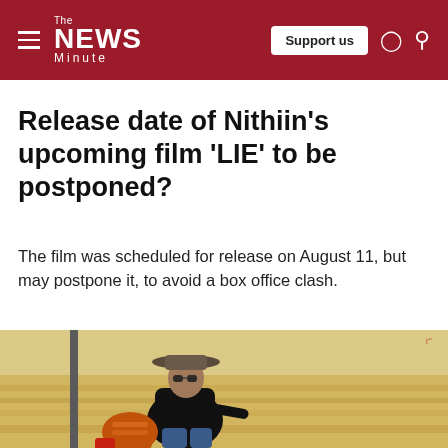The News Minute — Support us
Release date of Nithiin's upcoming film 'LIE' to be postponed?
The film was scheduled for release on August 11, but may postpone it, to avoid a box office clash.
[Figure (photo): A young man wearing a wide-brimmed hat and sunglasses, dressed in a black jacket and blue jeans, seated outdoors with a bag beside him. Dry golden landscape visible in background.]